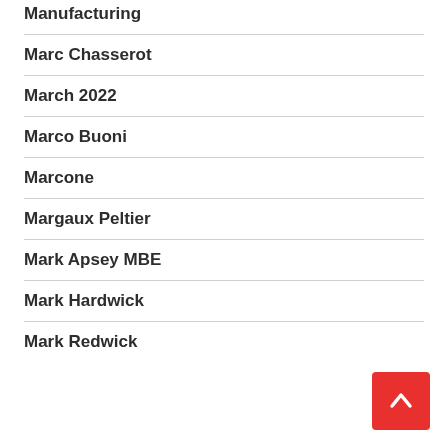Manufacturing
Marc Chasserot
March 2022
Marco Buoni
Marcone
Margaux Peltier
Mark Apsey MBE
Mark Hardwick
Mark Redwick